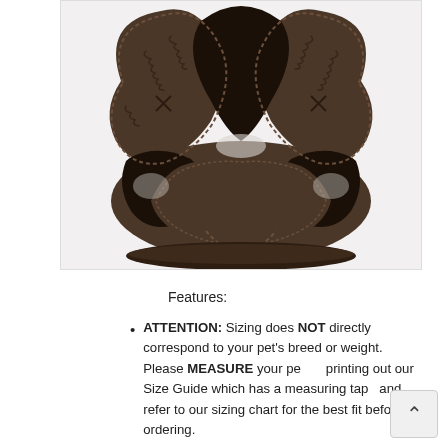[Figure (photo): Close-up photo of a dark brown suede/fabric pet harness viewed from the front/top, showing the harness structure with openings for legs, stitched edges, and a padded interior lining.]
Features:
ATTENTION: Sizing does NOT directly correspond to your pet's breed or weight. Please MEASURE your pet by printing out our Size Guide which has a measuring tape and refer to our sizing chart for the best fit before ordering.